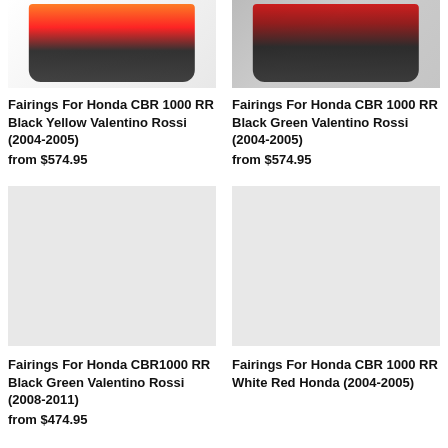[Figure (photo): Honda CBR 1000 RR fairings in Black Yellow Valentino Rossi design, top-down view of motorcycle fairing set]
Fairings For Honda CBR 1000 RR Black Yellow Valentino Rossi (2004-2005)
from $574.95
[Figure (photo): Honda CBR 1000 RR fairings in Black Green Valentino Rossi design, top-down view of motorcycle fairing set]
Fairings For Honda CBR 1000 RR Black Green Valentino Rossi (2004-2005)
from $574.95
[Figure (photo): Honda CBR1000 RR fairings in Black Green Valentino Rossi design (2008-2011), placeholder image]
Fairings For Honda CBR1000 RR Black Green Valentino Rossi (2008-2011)
from $474.95
[Figure (photo): Honda CBR 1000 RR fairings in White Red Honda design (2004-2005), placeholder image]
Fairings For Honda CBR 1000 RR White Red Honda (2004-2005)